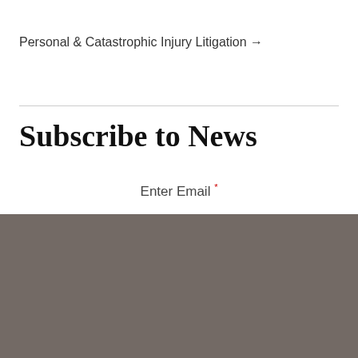Personal & Catastrophic Injury Litigation →
Subscribe to News
Enter Email *
We use cookies to help provide you with the best possible online experience.
Accept & Continue
Privacy policy